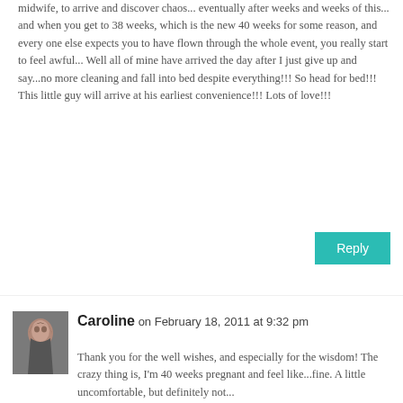midwife, to arrive and discover chaos... eventually after weeks and weeks of this... and when you get to 38 weeks, which is the new 40 weeks for some reason, and every one else expects you to have flown through the whole event, you really start to feel awful... Well all of mine have arrived the day after I just give up and say...no more cleaning and fall into bed despite everything!!! So head for bed!!! This little guy will arrive at his earliest convenience!!! Lots of love!!!
Reply
Caroline on February 18, 2011 at 9:32 pm
Thank you for the well wishes, and especially for the wisdom! The crazy thing is, I'm 40 weeks pregnant and feel like...fine. A little uncomfortable, but definitely not...